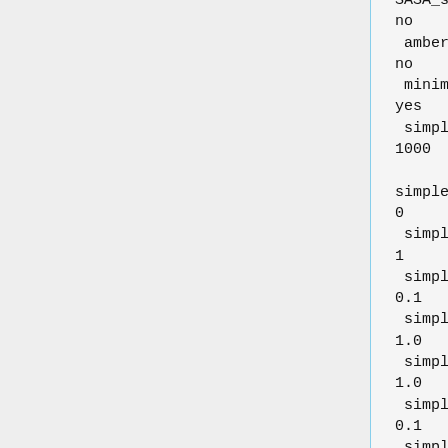SASA_score_secondary
no
 amber_score_secondary
no
 minimize_ligand
yes
 simplex_max_iterations
1000

simplex_tors_premin_iterations
0
 simplex_max_cycles
1
 simplex_score_converge
0.1
 simplex_cycle_converge
1.0
 simplex_trans_step
1.0
 simplex_rot_step
0.1
 simplex_tors_step
10.0
 simplex_random_seed
0